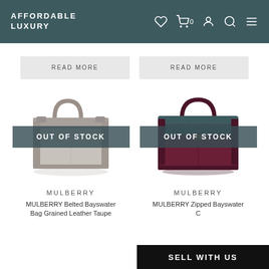AFFORDABLE LUXURY
READ MORE
READ MORE
[Figure (photo): Mulberry Belted Bayswater Bag in grained leather taupe color, with OUT OF STOCK overlay banner]
[Figure (photo): Mulberry Zipped Bayswater bag in dark burgundy/oxblood leather, with OUT OF STOCK overlay banner]
MULBERRY
MULBERRY
MULBERRY Belted Bayswater Bag Grained Leather Taupe
MULBERRY Zipped Bayswater C
SELL WITH US